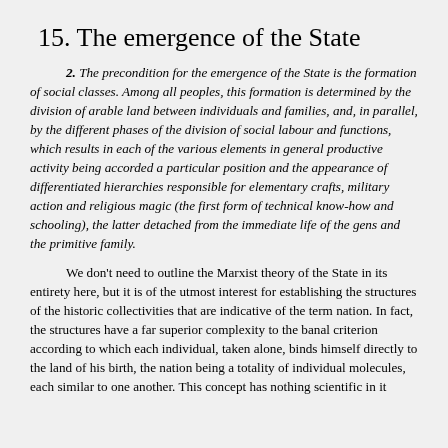15. The emergence of the State
2. The precondition for the emergence of the State is the formation of social classes. Among all peoples, this formation is determined by the division of arable land between individuals and families, and, in parallel, by the different phases of the division of social labour and functions, which results in each of the various elements in general productive activity being accorded a particular position and the appearance of differentiated hierarchies responsible for elementary crafts, military action and religious magic (the first form of technical know-how and schooling), the latter detached from the immediate life of the gens and the primitive family.
We don’t need to outline the Marxist theory of the State in its entirety here, but it is of the utmost interest for establishing the structures of the historic collectivities that are indicative of the term nation. In fact, the structures have a far superior complexity to the banal criterion according to which each individual, taken alone, binds himself directly to the land of his birth, the nation being a totality of individual molecules, each similar to one another. This concept has nothing scientific in it